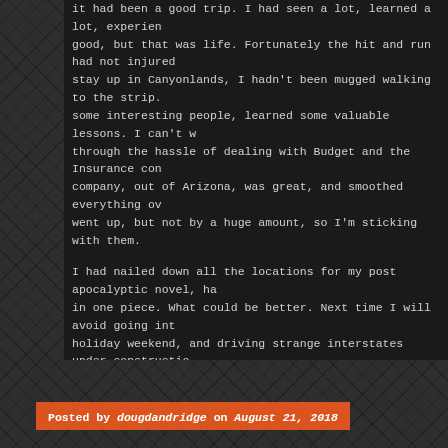It had been a good trip. I had seen a lot, learned a lot, experienced good, but that was life. Fortunately the hit and run had not injured stay up in Canyonlands, I hadn't been mugged walking to the strip. some interesting people, learned some valuable lessons. I can't w through the hassle of dealing with Budget and the Insurance con company, out of Arizona, was great, and smoothed everything ov went up, but not by a huge amount, so I'm sticking with them.
I had nailed down all the locations for my post apocalyptic novel, ha in one piece. What could be better. Next time I will avoid going int holiday weekend, and driving strange interstates under constructio I get in much better shape, a problem at my age, not to sign up through the desert. I spent way more money than I should hav interesting people. Starting off with Wonderhussy, the woman American Southwest and was my guide on my first full day out Habitat Ranch, to all the Park Rangers, and finally to the people c the years that the best thing you can accumulate are memories, into my brain.
Posted by dougdandridge on August 21, 2018